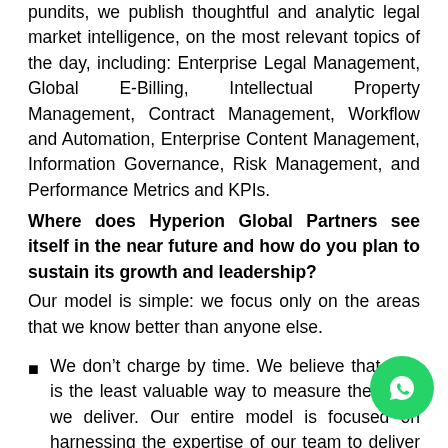pundits, we publish thoughtful and analytic legal market intelligence, on the most relevant topics of the day, including: Enterprise Legal Management, Global E-Billing, Intellectual Property Management, Contract Management, Workflow and Automation, Enterprise Content Management, Information Governance, Risk Management, and Performance Metrics and KPIs.
Where does Hyperion Global Partners see itself in the near future and how do you plan to sustain its growth and leadership?
Our model is simple: we focus only on the areas that we know better than anyone else.
We don’t charge by time. We believe that time is the least valuable way to measure the value we deliver. Our entire model is focused on harnessing the expertise of our team to deliver tangible, actionable, compelling solutions to our clients and to innovate in